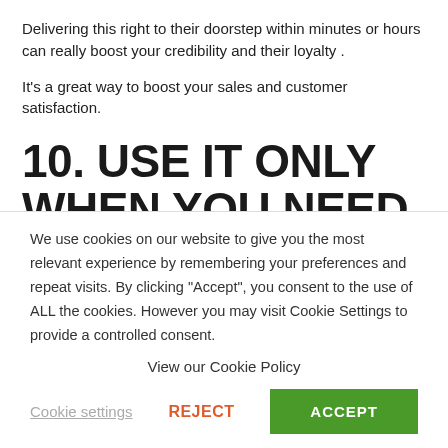Delivering this right to their doorstep within minutes or hours can really boost your credibility and their loyalty .
It's a great way to boost your sales and customer satisfaction.
10. USE IT ONLY WHEN YOU NEED IT
We use cookies on our website to give you the most relevant experience by remembering your preferences and repeat visits. By clicking "Accept", you consent to the use of ALL the cookies. However you may visit Cookie Settings to provide a controlled consent.
View our Cookie Policy
Cookie settings   REJECT   ACCEPT